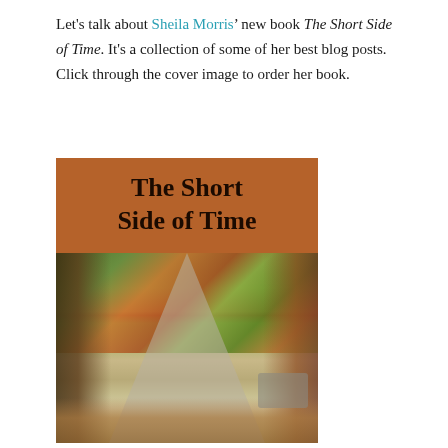Let's talk about Sheila Morris' new book The Short Side of Time. It's a collection of some of her best blog posts. Click through the cover image to order her book.
[Figure (illustration): Book cover of 'The Short Side of Time' by Sheila Morris. Brown/orange banner at top with bold black title text. Below is a photograph of a tree-lined road in autumn with colorful foliage and fallen leaves on the ground.]